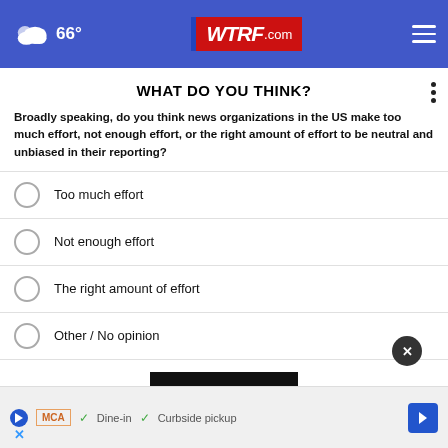66° WTRF.com
WHAT DO YOU THINK?
Broadly speaking, do you think news organizations in the US make too much effort, not enough effort, or the right amount of effort to be neutral and unbiased in their reporting?
Too much effort
Not enough effort
The right amount of effort
Other / No opinion
NEXT *
* By clicking "NEXT" you agree to the following: We use cookies to record your survey answers. If you would like to continue with this survey, please read...
[Figure (screenshot): Advertisement bar showing play button, MCA logo, checkmarks for Dine-in and Curbside pickup, blue navigation arrow icon, and close X button]